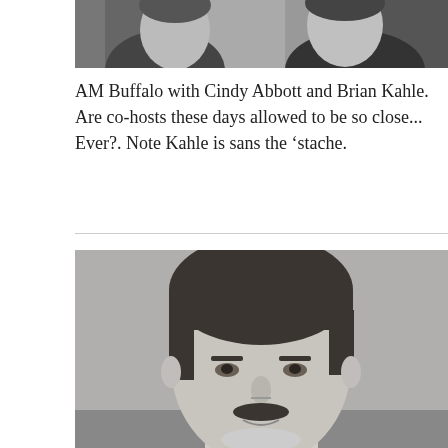[Figure (photo): Black and white photo of two people, partially cropped at top of page — AM Buffalo co-hosts Cindy Abbott and Brian Kahle]
AM Buffalo with Cindy Abbott and Brian Kahle. Are co-hosts these days allowed to be so close... Ever?. Note Kahle is sans the ‘stache.
[Figure (photo): Black and white headshot portrait of a man with dark hair and a mustache, smiling slightly — likely Brian Kahle]